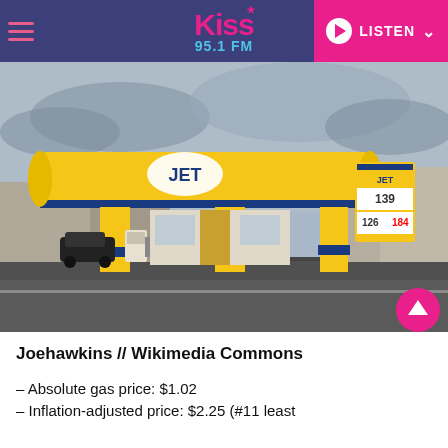Kiss 95.1 FM — LISTEN
[Figure (photo): A JET brand gas station with yellow canopy and blue trim, price signs visible, cars at pumps, overcast sky.]
Joehawkins // Wikimedia Commons
– Absolute gas price: $1.02
– Inflation-adjusted price: $2.25 (#11 least